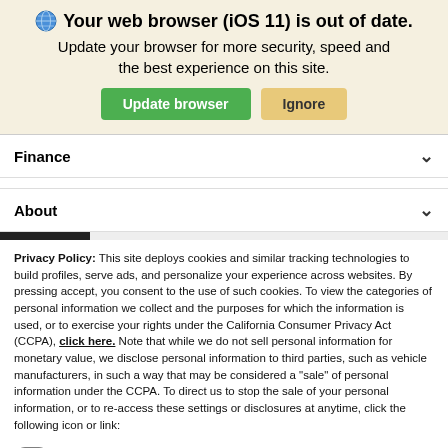[Figure (screenshot): Browser update banner with globe icon, bold title 'Your web browser (iOS 11) is out of date.', subtitle text, and two buttons: Update browser (green) and Ignore (tan/gold).]
Finance ∨
About ∨
Privacy Policy: This site deploys cookies and similar tracking technologies to build profiles, serve ads, and personalize your experience across websites. By pressing accept, you consent to the use of such cookies. To view the categories of personal information we collect and the purposes for which the information is used, or to exercise your rights under the California Consumer Privacy Act (CCPA), click here. Note that while we do not sell personal information for monetary value, we disclose personal information to third parties, such as vehicle manufacturers, in such a way that may be considered a "sale" of personal information under the CCPA. To direct us to stop the sale of your personal information, or to re-access these settings or disclosures at anytime, click the following icon or link:
Do Not Sell My Personal Information
Language: English ∨  Powered by ComplyAuto
Accept and Continue →  California Privacy Disclosures